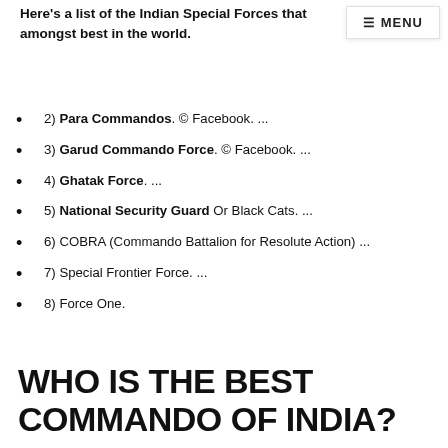Here's a list of the Indian Special Forces that amongst best in the world.
2) Para Commandos. © Facebook. ...
3) Garud Commando Force. © Facebook. ...
4) Ghatak Force. ...
5) National Security Guard Or Black Cats. ...
6) COBRA (Commando Battalion for Resolute Action) ...
7) Special Frontier Force. ...
8) Force One.
WHO IS THE BEST COMMANDO OF INDIA?